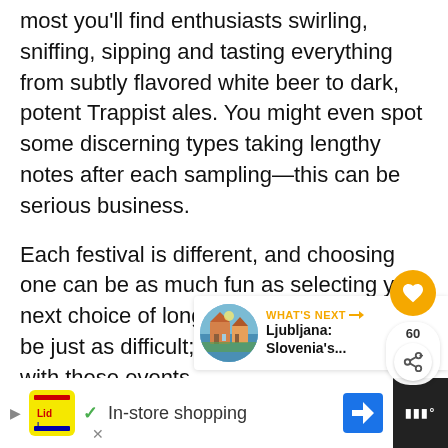most you'll find enthusiasts swirling, sniffing, sipping and tasting everything from subtly flavored white beer to dark, potent Trappist ales. You might even spot some discerning types taking lengthy notes after each sampling—this can be serious business.
Each festival is different, and choosing one can be as much fun as selecting your next choice of long beer menu. It can also be just as difficult; the calendar is loaded with these events.
[Figure (screenshot): UI overlay: gold heart/favorite button, share count 60, and share icon button]
[Figure (screenshot): What's Next bar showing Ljubljana: Slovenia's... with circular photo thumbnail]
[Figure (screenshot): Advertisement bar at bottom: Lidl logo, checkmark, In-store shopping text, Google Maps navigation icon, dark right panel]